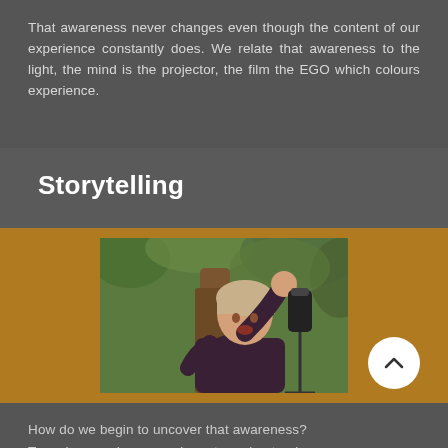That awareness never changes even though the content of our experience constantly does. We relate that awareness to the light, the mind is the projector, the film the EGO which colours experience.
Storytelling
[Figure (photo): A woman outdoors leaning against a tree, raising her arm, with a microphone on a stand visible to the right. Green foliage in background.]
How do we begin to uncover that awareness? To make any change we have to understand